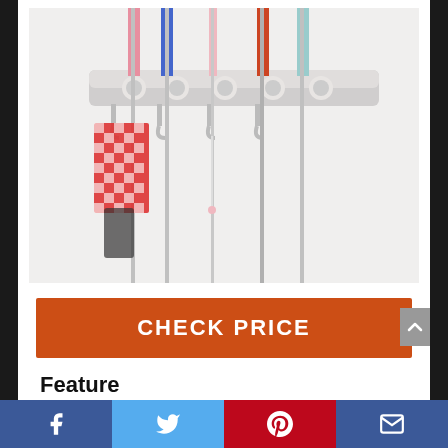[Figure (photo): Product photo of a wall-mounted mop and broom holder with multiple slots holding mops and brooms with colored handles (pink, blue, red/orange, light blue), with a red checkered cloth and other items hanging on side hooks. White holder mounted on wall.]
CHECK PRICE
Feature
Strong and sturdy – The mop and
Facebook | Twitter | Pinterest | Email